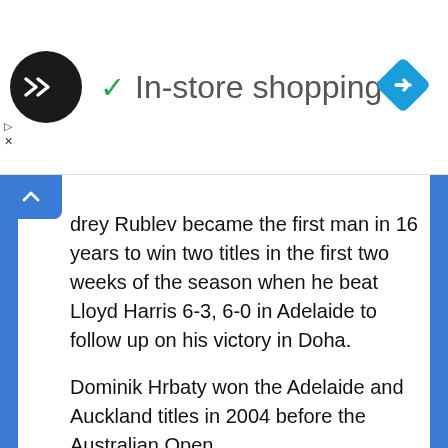[Figure (screenshot): Ad banner with dark circular logo with double arrow symbol, checkmark icon, text 'In-store shopping', and blue diamond navigation icon on the right]
drey Rublev became the first man in 16 years to win two titles in the first two weeks of the season when he beat Lloyd Harris 6-3, 6-0 in Adelaide to follow up on his victory in Doha.
Dominik Hrbaty won the Adelaide and Auckland titles in 2004 before the Australian Open.
Red More : How to Watch Australian Open 2020 Live Stream Online
“I was not thinking about (the record) but it’s an amazing feeling,” Russian Rublev said. “If you talk about results, of course this is the best I have ever done.”